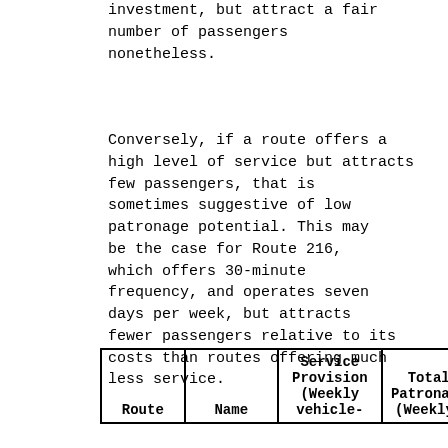investment, but attract a fair number of passengers nonetheless.
Conversely, if a route offers a high level of service but attracts few passengers, that is sometimes suggestive of low patronage potential. This may be the case for Route 216, which offers 30-minute frequency, and operates seven days per week, but attracts fewer passengers relative to its costs than routes offering much less service.
| Route | Name | Service Provision (Weekly vehicle- | Total Patronage (Weekly, | Productivity (Users per vehicle- | Fr (W |
| --- | --- | --- | --- | --- | --- |